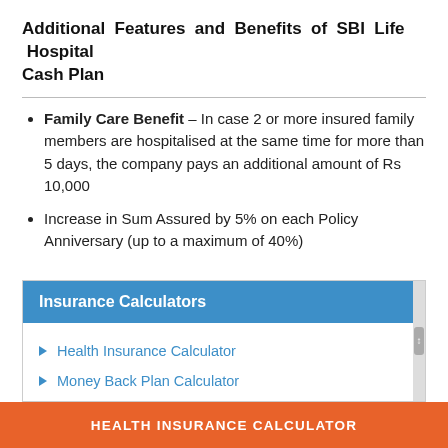Additional Features and Benefits of SBI Life Hospital Cash Plan
Family Care Benefit – In case 2 or more insured family members are hospitalised at the same time for more than 5 days, the company pays an additional amount of Rs 10,000
Increase in Sum Assured by 5% on each Policy Anniversary (up to a maximum of 40%)
Insurance Calculators
Health Insurance Calculator
Money Back Plan Calculator
HEALTH INSURANCE CALCULATOR